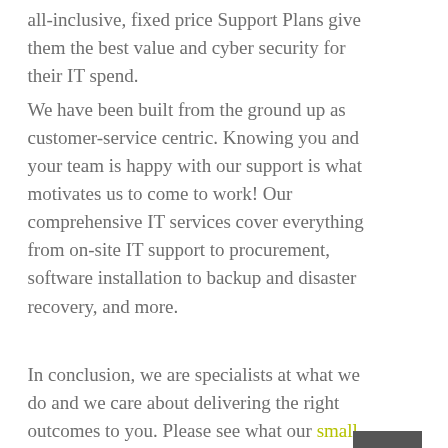all-inclusive, fixed price Support Plans give them the best value and cyber security for their IT spend.
We have been built from the ground up as customer-service centric. Knowing you and your team is happy with our support is what motivates us to come to work! Our comprehensive IT services cover everything from on-site IT support to procurement, software installation to backup and disaster recovery, and more.
In conclusion, we are specialists at what we do and we care about delivering the right outcomes to you. Please see what our small business IT support plans include then get in touch to discuss how will can manage